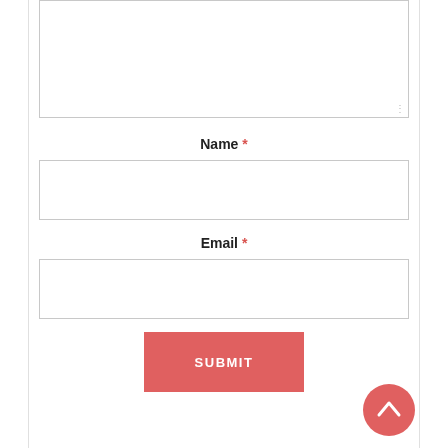[textarea - comment field]
Name *
[text input - name field]
Email *
[text input - email field]
SUBMIT
[Figure (illustration): Scroll-to-top circular red button with upward chevron arrow in bottom-right corner]